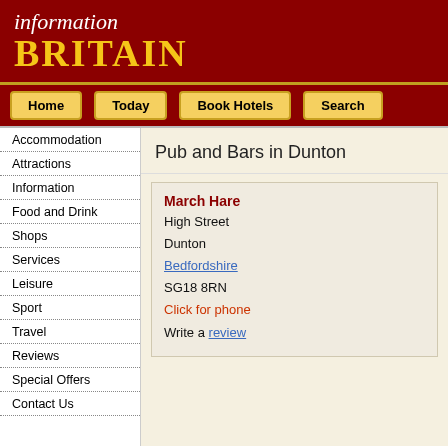information BRITAIN
Home
Today
Book Hotels
Search
Accommodation
Attractions
Information
Food and Drink
Shops
Services
Leisure
Sport
Travel
Reviews
Special Offers
Contact Us
Pub and Bars in Dunton
March Hare
High Street
Dunton
Bedfordshire
SG18 8RN
Click for phone
Write a review